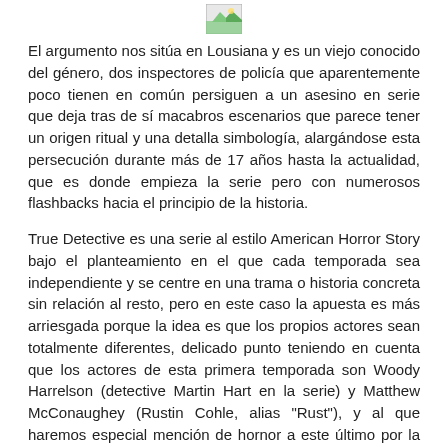[Figure (illustration): Small landscape/image icon at the top center of the page]
El argumento nos sitúa en Lousiana y es un viejo conocido del género, dos inspectores de policía que aparentemente poco tienen en común persiguen a un asesino en serie que deja tras de sí macabros escenarios que parece tener un origen ritual y una detalla simbología, alargándose esta persecución durante más de 17 años hasta la actualidad, que es donde empieza la serie pero con numerosos flashbacks hacia el principio de la historia.
True Detective es una serie al estilo American Horror Story bajo el planteamiento en el que cada temporada sea independiente y se centre en una trama o historia concreta sin relación al resto, pero en este caso la apuesta es más arriesgada porque la idea es que los propios actores sean totalmente diferentes, delicado punto teniendo en cuenta que los actores de esta primera temporada son Woody Harrelson (detective Martin Hart en la serie) y Matthew McConaughey (Rustin Cohle, alias "Rust"), y al que haremos especial mención de hornor a este último por la gran interpretación que hace en esta serie.